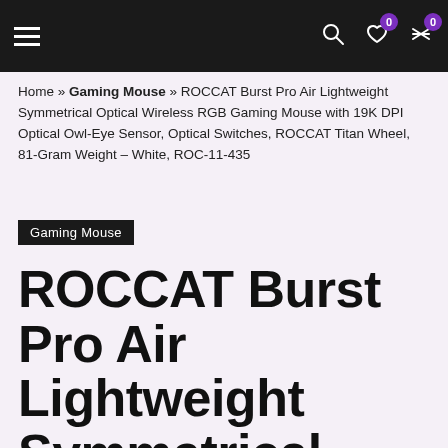Navigation bar with hamburger menu, search icon, wishlist (0), and compare (0) icons
Home » Gaming Mouse » ROCCAT Burst Pro Air Lightweight Symmetrical Optical Wireless RGB Gaming Mouse with 19K DPI Optical Owl-Eye Sensor, Optical Switches, ROCCAT Titan Wheel, 81-Gram Weight – White, ROC-11-435
Gaming Mouse
ROCCAT Burst Pro Air Lightweight Symmetrical Optical Wireless RGB Gaming Mouse with 19K